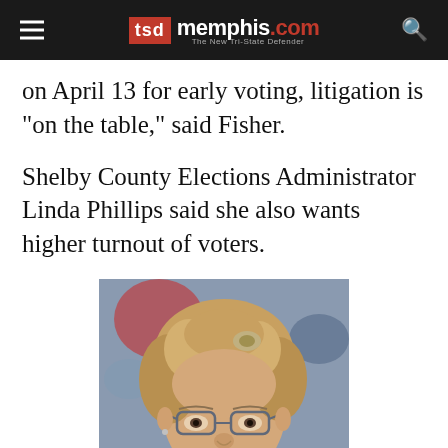TSD memphis.com — The New Tri-State Defender
on April 13 for early voting, litigation is "on the table," said Fisher.
Shelby County Elections Administrator Linda Phillips said she also wants higher turnout of voters.
[Figure (photo): Portrait photo of a middle-aged woman with curly blonde hair and glasses, looking directly at the camera]